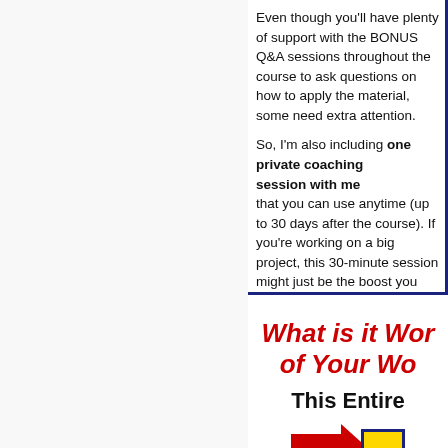Even though you'll have plenty of support with the BONUS Q&A sessions throughout the course to ask questions on how to apply the material, some need extra attention.

So, I'm also including one private coaching session with me that you can use anytime (up to 30 days after the course). If you're working on a big project, this 30-minute session might just be the boost you need to stay fo...
What is it Wor... of Your Wo...
This Entire